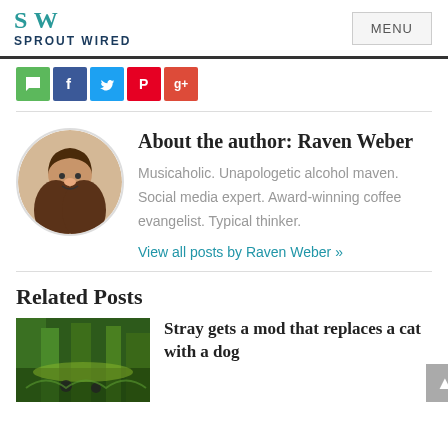SPROUT WIRED | MENU
[Figure (infographic): Social share buttons: comment (green), Facebook (blue), Twitter (light blue), Pinterest (red), Google+ (orange-red)]
About the author: Raven Weber
Musicaholic. Unapologetic alcohol maven. Social media expert. Award-winning coffee evangelist. Typical thinker.
View all posts by Raven Weber »
Related Posts
Stray gets a mod that replaces a cat with a dog